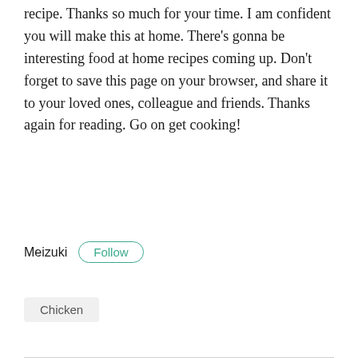recipe. Thanks so much for your time. I am confident you will make this at home. There’s gonna be interesting food at home recipes coming up. Don’t forget to save this page on your browser, and share it to your loved ones, colleague and friends. Thanks again for reading. Go on get cooking!
Meizuki
Follow
Chicken